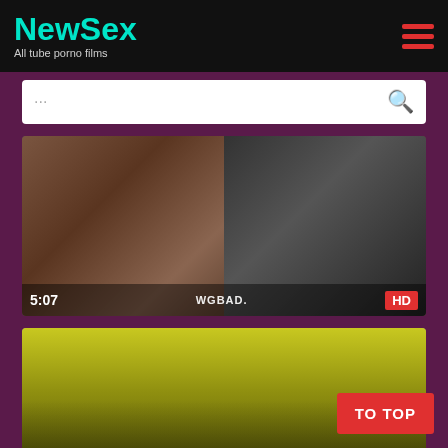New Sex - All tube porno films
[Figure (screenshot): Website screenshot of NewSex adult video streaming site showing logo, search bar, and video thumbnails with HD badges and duration labels]
5:07
WGBAD.
HD
5:05
FACEBASHED.C
HD
TO TOP